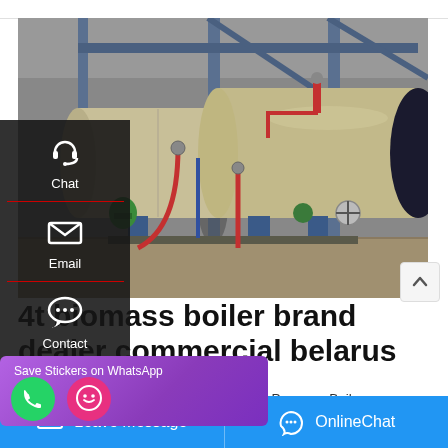[Figure (photo): Industrial biomass boiler in a warehouse/factory setting. Large horizontal cylindrical tan/beige colored boiler tank on blue metal supports, with red and blue pipes, valves and fittings. Steel structural framework visible behind.]
4t biomass boiler brand dealer commercial belarus
Dealer Commercial 6t Diesel Atmospheric Pressure Boiler
Dealer Industrial Singapore. low prices
[Figure (screenshot): WhatsApp popup overlay: 'Save Stickers on WhatsApp' with phone and smiley face icons on purple/pink gradient background]
Leave Message   OnlineChat